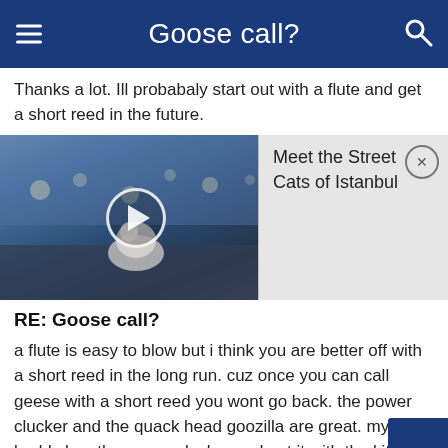Goose call?
Thanks a lot. Ill probabaly start out with a flute and get a short reed in the future.
[Figure (screenshot): Video thumbnail of a cat on a street in Istanbul with a play button overlay, and an advertisement overlay panel reading 'Meet the Street Cats of Istanbul' with a close button]
RE: Goose call?
a flute is easy to blow but i think you are better off with a short reed in the long run. cuz once you can call geese with a short reed you wont go back. the power clucker and the quack head goozilla are great. my buddy has the power clucker and got it with the kit. the kit is great becausei jus bought a Death Row Inmate and knew not really anything about short reeds and i watched the video that came with his clucker and it has helped alot. somethin to think about